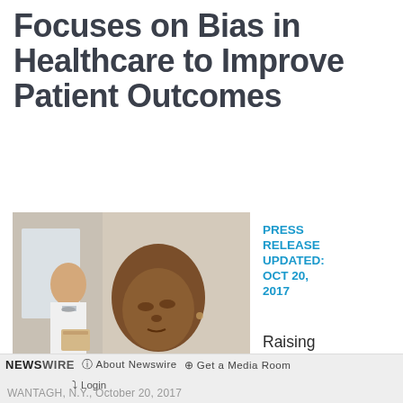Focuses on Bias in Healthcare to Improve Patient Outcomes
[Figure (photo): A Black woman patient in a white jacket looking downward with a concerned expression, while a male doctor in a white coat reviews a folder in the background.]
PRESS RELEASE UPDATED: OCT 20, 2017
Raising awareness about implicit racial bias and unequal treatment.
NEWSWIRE  ⓘ About Newswire  ⊙ Get a Media Room  ⊕ Login  WANTAGH, N.Y., October 20, 2017